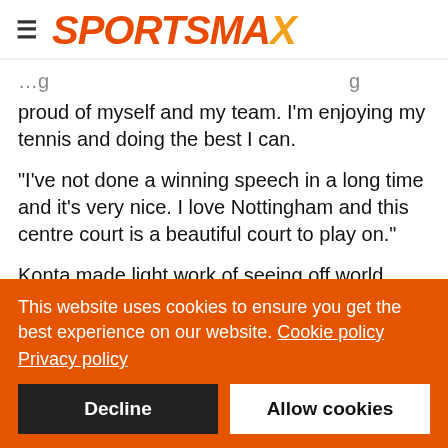SPORTSMAX
...proud of myself and my team. I'm enjoying my tennis and doing the best I can.
"I've not done a winning speech in a long time and it's very nice. I love Nottingham and this centre court is a beautiful court to play on."
Konta made light work of seeing off world number 46 Zhang in a little under an hour.
This website uses cookies to ensure you get the best experience on our website. Cookie policy
Privacy policy
Decline
Allow cookies